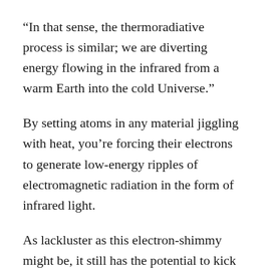“In that sense, the thermoradiative process is similar; we are diverting energy flowing in the infrared from a warm Earth into the cold Universe.”
By setting atoms in any material jiggling with heat, you’re forcing their electrons to generate low-energy ripples of electromagnetic radiation in the form of infrared light.
As lackluster as this electron-shimmy might be, it still has the potential to kick off a slow current of electricity. All that’s needed is a one-way electron traffic signal called a diode.
Made of the right combination of elements, a